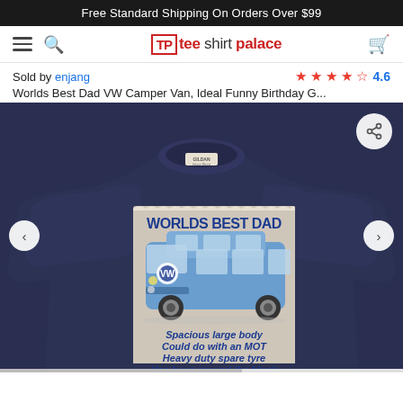Free Standard Shipping On Orders Over $99
[Figure (logo): Tee Shirt Palace logo with hamburger menu, search icon, and cart icon in navigation bar]
Sold by enjang
★★★★½ 4.6
Worlds Best Dad VW Camper Van, Ideal Funny Birthday G...
[Figure (photo): Navy blue Gildan sweatshirt with graphic print showing 'WORLDS BEST DAD' text, a blue VW Camper Van, and text reading 'Spacious large body, Could do with an MOT, Heavy duty spare tyre, Has been around the block, Bodywork needs attention']